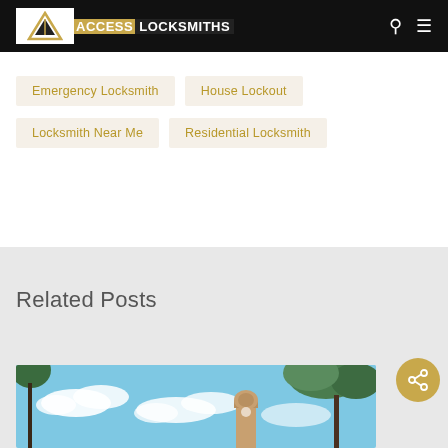ACCESS LOCKSMITHS
Emergency Locksmith
House Lockout
Locksmith Near Me
Residential Locksmith
Related Posts
[Figure (photo): Outdoor photo showing blue sky with white clouds, green tree foliage at top, and a dome-topped tower/clock tower building in the background]